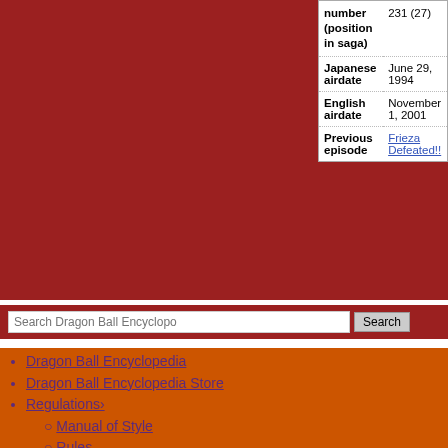| Field | Value |
| --- | --- |
| number (position in saga) | 231 (27) |
| Japanese airdate | June 29, 1994 |
| English airdate | November 1, 2001 |
| Previous episode | Frieza Defeated!! |
Dragon Ball Encyclopedia
Dragon Ball Encyclopedia Store
Regulations›
Manual of Style
Rules
Standards
Local policies›
Jump start from Wikipedia policy
Copyrights
Deletion policy
Fair use policy
Fair use rational
Policy
Request for deletion
Guides
Help›